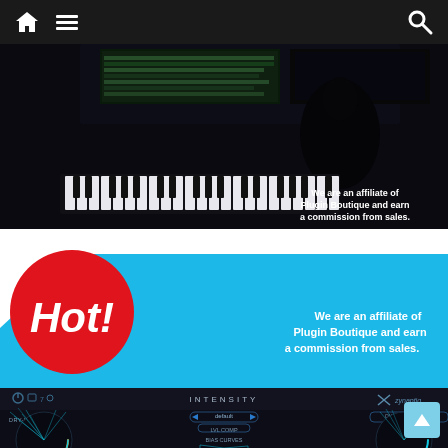Navigation bar with home, menu, and search icons
[Figure (photo): Dark studio scene with piano keyboard and monitors showing DAW software. Text overlay reads 'We are an affiliate of Plugin Boutique and earn a commission from sales.']
[Figure (infographic): Blue diagonal banner advertisement with red circular badge saying 'Hot!' in bold italic white text. Text reads 'We are an affiliate of Plugin Boutique and earn a commission from sales.' Below is a screenshot of the Zynaptic INTENSITY plugin UI with knobs and the BIAS CURVES panel.]